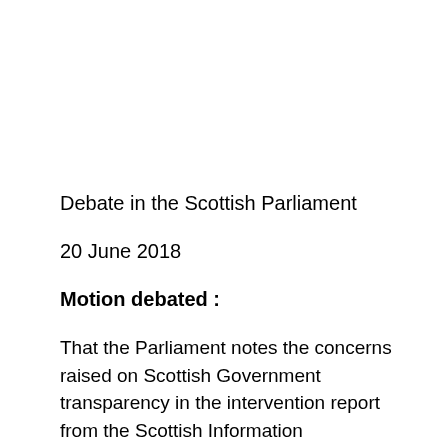Debate in the Scottish Parliament
20 June 2018
Motion debated:
That the Parliament notes the concerns raised on Scottish Government transparency in the intervention report from the Scottish Information Commissioner; notes the key findings that the Scottish Government's FoI policies and procedures are not clear enough